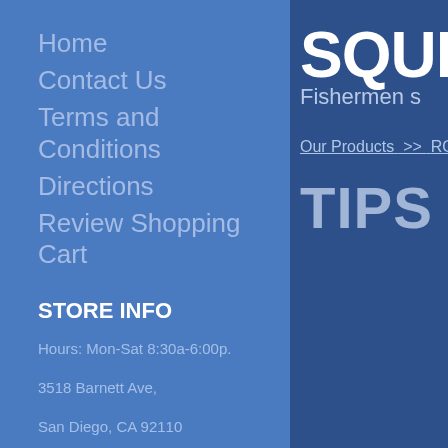Home
Contact Us
Terms and Conditions
Directions
Review Shopping Cart
STORE INFO
Hours: Mon-Sat 8:30a-6:00p.
3518 Barnett Ave,
San Diego, CA 92110
SQUI
Fishermen s
Our Products  >>  ROD
TIPS ANI